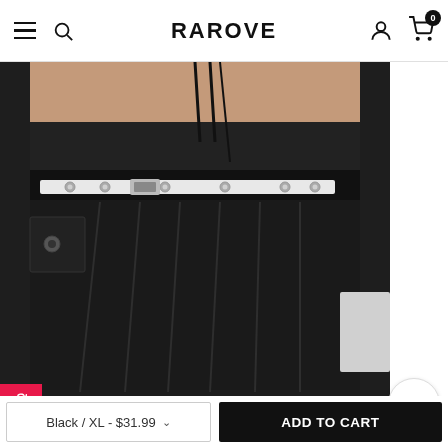RAROVE
[Figure (photo): Close-up photo of a person wearing a black mini pleated skirt with a white belt with grommets and a silver buckle, paired with a black halter top with laces.]
It's cute, very short, but cute! I'm 173cm tall and usually a size s/UK8 for reference :) I like the skull belt it comes with but changed it to my own in the photos. I think I'd go for a
Black / XL - $31.99
ADD TO CART